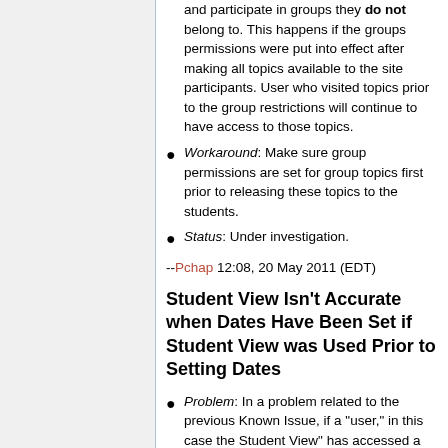and participate in groups they do not belong to. This happens if the groups permissions were put into effect after making all topics available to the site participants. User who visited topics prior to the group restrictions will continue to have access to those topics.
Workaround: Make sure group permissions are set for group topics first prior to releasing these topics to the students.
Status: Under investigation.
--Pchap 12:08, 20 May 2011 (EDT)
Student View Isn't Accurate when Dates Have Been Set if Student View was Used Prior to Setting Dates
Problem: In a problem related to the previous Known Issue, if a "user," in this case the Student View" has accessed a Discussion already, setting permissions does not prevent that user from